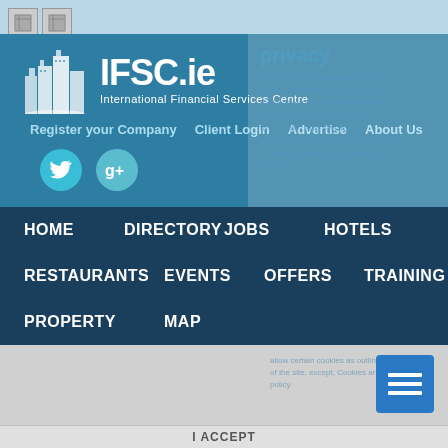[Figure (screenshot): IFSC.ie website screenshot showing header with logo, navigation links, social icons, main navigation menu with HOME, DIRECTORY, JOBS, HOTELS, RESTAURANTS, EVENTS, OFFERS, TRAINING, PROPERTY, MAP, and a cookie/privacy overlay]
IFSC.ie
International Financial Services Centre
Register your Company
Client Login
Advertise
About Us
HOME
DIRECTORY
JOBS
HOTELS
RESTAURANTS
EVENTS
OFFERS
TRAINING
PROPERTY
MAP